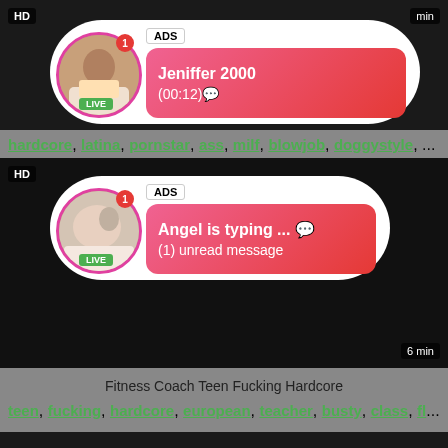[Figure (screenshot): Top video thumbnail - dark background with HD badge and time indicator, showing an ad popup with profile Jeniffer 2000]
ADS
Jeniffer 2000 (00:12)
LIVE
HD
min
hardcore, latina, pornstar, ass, milf, blowjob, doggystyle, ...
[Figure (screenshot): Second video thumbnail - dark background, nearly black, showing an ad popup with Angel is typing message]
ADS
Angel is typing ... 💬 (1) unread message
LIVE
HD
6 min
Fitness Coach Teen Fucking Hardcore
teen, fucking, hardcore, european, teacher, busty, class, fl...